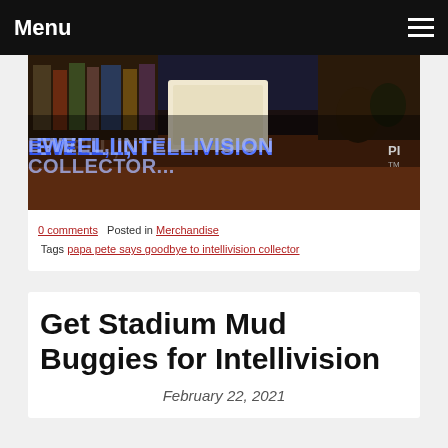Menu
[Figure (photo): Cropped photo of a person with text overlay reading 'EWELL, INTELLIVISION COLLECTOR...' in blue glowing letters on a dark background]
0 comments   Posted in Merchandise
  Tags papa pete says goodbye to intellivision collector
Get Stadium Mud Buggies for Intellivision
February 22, 2021